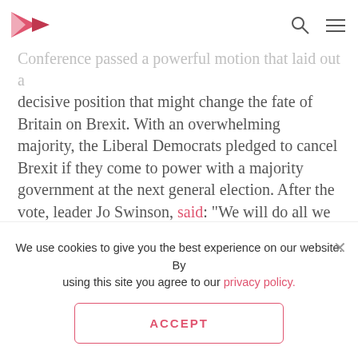And then the big bomb was dropped. On Sunday, September, after a robust debate, the Lib Dem Conference passed a powerful motion that laid out a decisive position that might change the fate of Britain on Brexit. With an overwhelming majority, the Liberal Democrats pledged to cancel Brexit if they come to power with a majority government at the next general election. After the vote, leader Jo Swinson, said: “We will do all we can to fight for our place in Europe, and to stop Brexit altogether.”
The fight is on
Finally, the big debut came. On Monday, 14th
We use cookies to give you the best experience on our website. By using this site you agree to our privacy policy.